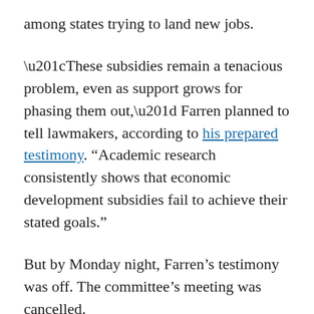among states trying to land new jobs.
“These subsidies remain a tenacious problem, even as support grows for phasing them out,” Farren planned to tell lawmakers, according to his prepared testimony. “Academic research consistently shows that economic development subsidies fail to achieve their stated goals.”
But by Monday night, Farren’s testimony was off. The committee’s meeting was cancelled.
West Virginia lawmakers, called into special